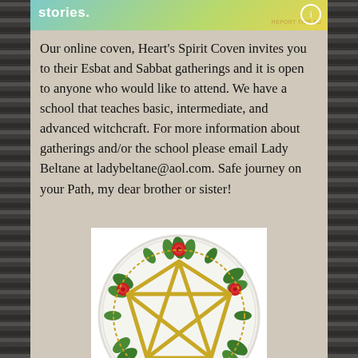[Figure (other): Top banner with gradient background (teal to yellow-green) and partial text 'stories.' with a small circular icon on the right and a 'REPORT THIS AD' link]
Our online coven, Heart's Spirit Coven invites you to their Esbat and Sabbat gatherings and it is open to anyone who would like to attend. We have a school that teaches basic, intermediate, and advanced witchcraft. For more information about gatherings and/or the school please email Lady Beltane at ladybeltane@aol.com. Safe journey on your Path, my dear brother or sister!
[Figure (photo): A decorative ceramic plate with a gold pentagram star in the center surrounded by a wreath of green leaves and red roses, on a white background.]